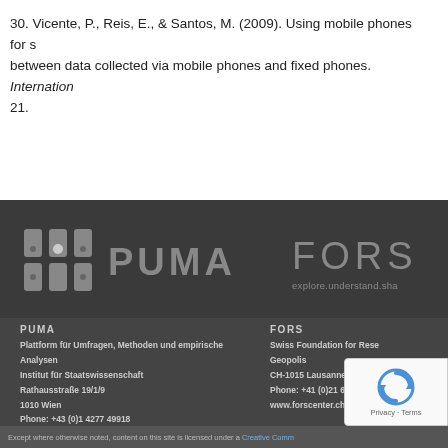30. Vicente, P., Reis, E., & Santos, M. (2009). Using mobile phones for survey research: A comparison between data collected via mobile phones and fixed phones. International Journal of Market Research, 21.
[Figure (logo): PUMA logo with geometric grid icon and wordmark, and FORS logo with tagline 'explore.understand.share' on dark background]
PUMA
Plattform für Umfragen, Methoden und empirische Analysen
Institut für Staatswissenschaft
Rathausstraße 19/1/9
1010 Wien
Phone: +43 (0)1 4277 49918
www.puma-plattform.at
ISSN: 2296-4754
FORS
Swiss Foundation for Research in Social Sciences
Geopolis
CH-1015 Lausanne
Phone: +41 (0)21 692 37 30
www.forscenter.ch
Except where otherwise noted, content on this site is licensed under a Creative Commons...